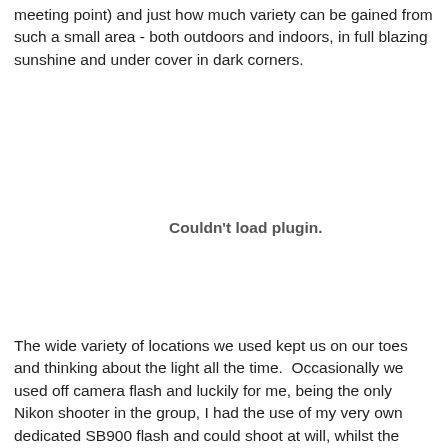meeting point) and just how much variety can be gained from such a small area - both outdoors and indoors, in full blazing sunshine and under cover in dark corners.
[Figure (other): Couldn't load plugin.]
The wide variety of locations we used kept us on our toes and thinking about the light all the time.  Occasionally we used off camera flash and luckily for me, being the only Nikon shooter in the group, I had the use of my very own dedicated SB900 flash and could shoot at will, whilst the other Canon users had to share flash triggers and wait their